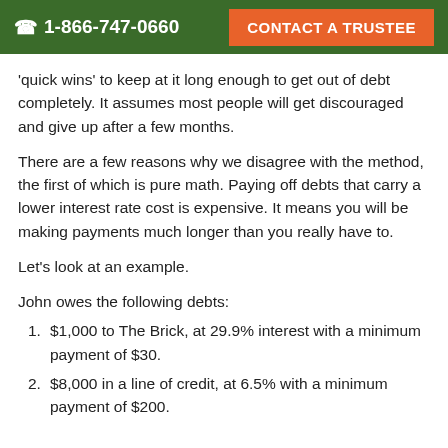☎ 1-866-747-0660   CONTACT A TRUSTEE
'quick wins' to keep at it long enough to get out of debt completely. It assumes most people will get discouraged and give up after a few months.
There are a few reasons why we disagree with the method, the first of which is pure math. Paying off debts that carry a lower interest rate cost is expensive. It means you will be making payments much longer than you really have to.
Let's look at an example.
John owes the following debts:
$1,000 to The Brick, at 29.9% interest with a minimum payment of $30.
$8,000 in a line of credit, at 6.5% with a minimum payment of $200.